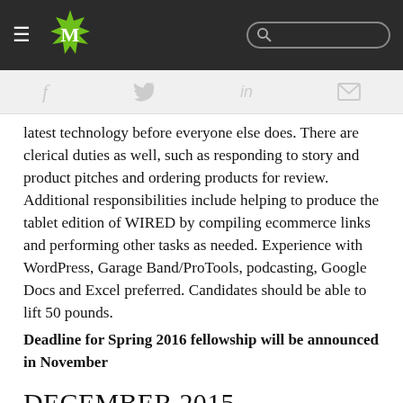M [logo] [search bar]
latest technology before everyone else does. There are clerical duties as well, such as responding to story and product pitches and ordering products for review. Additional responsibilities include helping to produce the tablet edition of WIRED by compiling ecommerce links and performing other tasks as needed. Experience with WordPress, Garage Band/ProTools, podcasting, Google Docs and Excel preferred. Candidates should be able to lift 50 pounds.
Deadline for Spring 2016 fellowship will be announced in November
DECEMBER 2015 DEADLINES
Nieman-Berkman Fellowship in Journalism Innovation
This …